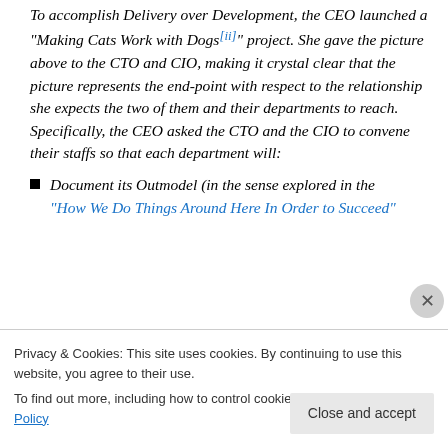To accomplish Delivery over Development, the CEO launched a "Making Cats Work with Dogs[ii]" project. She gave the picture above to the CTO and CIO, making it crystal clear that the picture represents the end-point with respect to the relationship she expects the two of them and their departments to reach. Specifically, the CEO asked the CTO and the CIO to convene their staffs so that each department will:
Document its Outmodel (in the sense explored in the "How We Do Things Around Here In Order to Succeed"
Privacy & Cookies: This site uses cookies. By continuing to use this website, you agree to their use. To find out more, including how to control cookies, see here: Cookie Policy